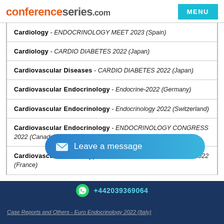conferenceseries.com
Cardiology - ENDOCRINOLOGY MEET 2023 (Spain)
Cardiology - CARDIO DIABETES 2022 (Japan)
Cardiovascular Diseases - CARDIO DIABETES 2022 (Japan)
Cardiovascular Endocrinology - Endocrine-2022 (Germany)
Cardiovascular Endocrinology - Endocrinology 2022 (Switzerland)
Cardiovascular Endocrinology - ENDOCRINOLOGY CONGRESS 2022 (Canada)
Cardiovascular risk in Type 2 Diabetes - Diabetes Medicare 2022 (France)
+442039369064
Case Reports and Others - Euro Endocrinology 2022 (Italy)